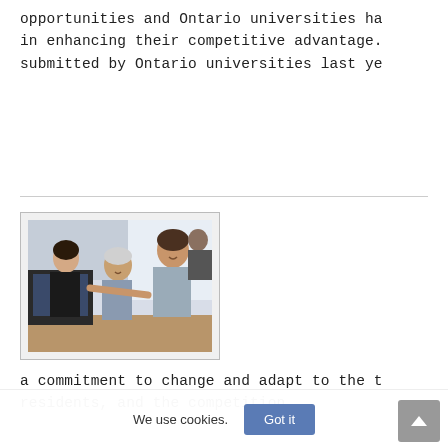opportunities and Ontario universities ha in enhancing their competitive advantage. submitted by Ontario universities last ye
[Figure (photo): A group of professionals gathered around a computer screen, appearing to be in a business or educational meeting setting. Three people are visible: a woman in black on the left, an older man in the center, and a man on the right pointing at the screen.]
a commitment to change and adapt to the t residents, and the competition.
We use cookies.